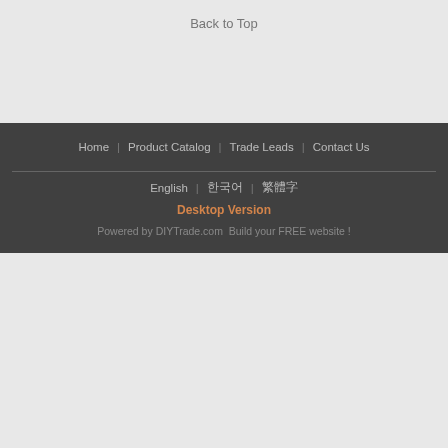Back to Top
Home | Product Catalog | Trade Leads | Contact Us
English | 한국어 | 繁體字
Desktop Version
Powered by DIYTrade.com  Build your FREE website !